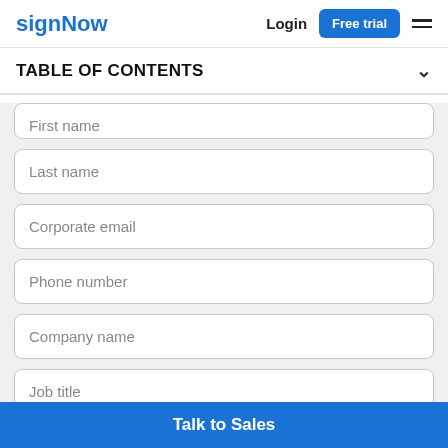signNow  Login  Free trial
TABLE OF CONTENTS
First name
Last name
Corporate email
Phone number
Company name
Job title
Talk to Sales